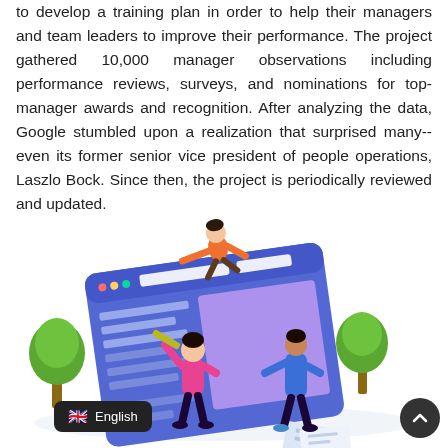to develop a training plan in order to help their managers and team leaders to improve their performance. The project gathered 10,000 manager observations including performance reviews, surveys, and nominations for top-manager awards and recognition. After analyzing the data, Google stumbled upon a realization that surprised many--even its former senior vice president of people operations, Laszlo Bock. Since then, the project is periodically reviewed and updated.
[Figure (illustration): Illustration of people collaborating on a large digital form/webpage. Two trees in background, figures writing and interacting with a large blue UI form element. Papers scattered on ground.]